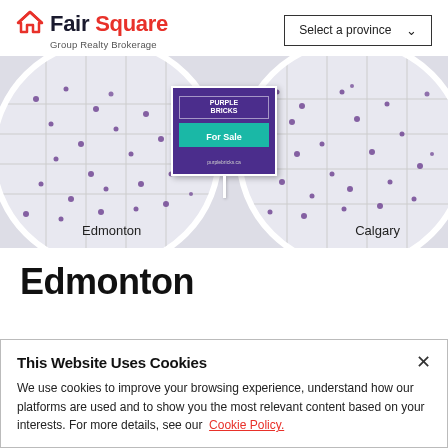[Figure (logo): FairSquare Group Realty Brokerage logo with red house icon]
Select a province
[Figure (screenshot): Map showing Edmonton and Calgary with purple pins and a Purple Bricks For Sale sign overlay]
Edmonton
This Website Uses Cookies
We use cookies to improve your browsing experience, understand how our platforms are used and to show you the most relevant content based on your interests. For more details, see our Cookie Policy.